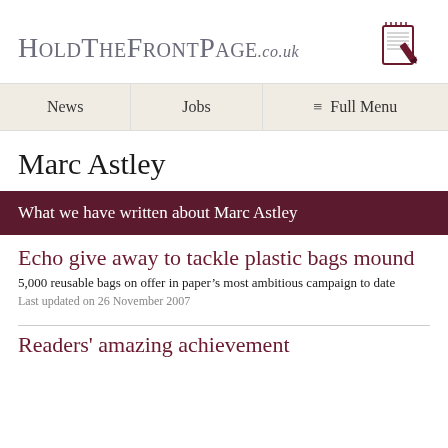HoldTheFrontPage.co.uk
[Figure (logo): Notepad and pen icon logo for HoldTheFrontPage]
News   Jobs   ☰ Full Menu
Marc Astley
What we have written about Marc Astley
Echo give away to tackle plastic bags mound
5,000 reusable bags on offer in paper's most ambitious campaign to date
Last updated on 26 November 2007
Readers' amazing achievement